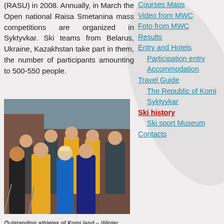(RASU) in 2008. Annually, in March the Open national Raisa Smetanina mass competitions are organized in Syktyvkar. Ski teams from Belarus, Ukraine, Kazakhstan take part in them, the number of participants amounting to 500-550 people.
[Figure (photo): Group photo of outstanding athletes of Komi land – Winter Olympics participants (from left to right), bottom row: Vladimir Legotin, Ivan Arteev, Raisa Smetanina, Nina Rocheva, top row: Vasily]
Outstanding athletes of Komi land – Winter Olympics participants (from left to right), bottom row: Vladimir Legotin, Ivan Arteev, Raisa Smetanina, Nina Rocheva, top row: Vasily
Courses Maps
Video from MWC
Foto from MWC
Results
Entry and Hotels
Participation entry
Accommodation
Travel Guide
The Republic of Komi
Syktyvkar
Ski history
Ski sport Museum
Contacts